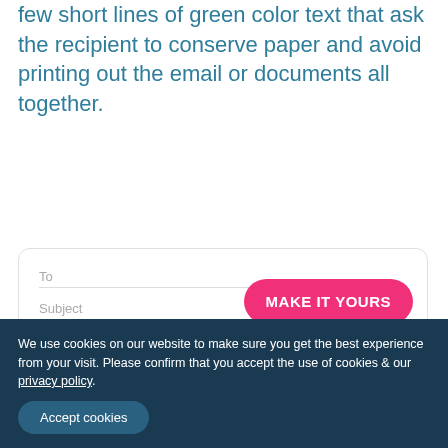few short lines of green color text that ask the recipient to conserve paper and avoid printing out the email or documents all together.
[Figure (screenshot): Email compose interface screenshot showing To and Subject fields, a pink 'MAKE IT YOURS' button, and an email signature for Kenneth Smith, Science Teacher at Flint High School, with contact details and social icons.]
We use cookies on our website to make sure you get the best experience from your visit. Please confirm that you accept the use of cookies & our privacy policy.
Accept cookies